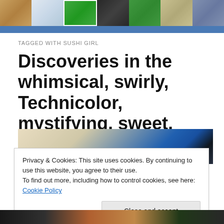[Figure (photo): Header strip with multiple thumbnail photos arranged horizontally]
TAGGED WITH SUSHI GIRL
Discoveries in the whimsical, swirly, Technicolor, mystifying, sweet, savory, wacky land of wonder that is Japan
[Figure (photo): Partial article image showing a store interior with blue display and dark elements]
Privacy & Cookies: This site uses cookies. By continuing to use this website, you agree to their use.
To find out more, including how to control cookies, see here: Cookie Policy
Close and accept
[Figure (photo): Bottom strip partial image]